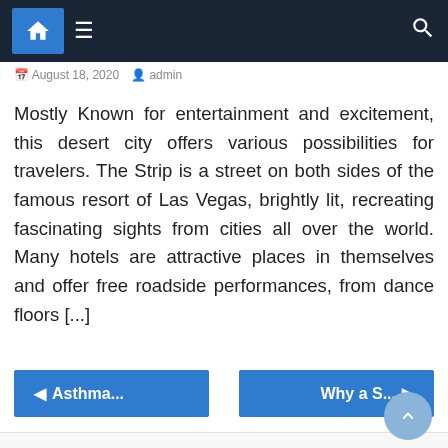Navigation bar with home, menu, and search icons
August 18, 2020  admin
Mostly Known for entertainment and excitement, this desert city offers various possibilities for travelers. The Strip is a street on both sides of the famous resort of Las Vegas, brightly lit, recreating fascinating sights from cities all over the world. Many hotels are attractive places in themselves and offer free roadside performances, from dance floors [...]
◄ Asthma...
Why a S... ►
Leave a Reply
Your email address will not be published.Required fields are marked *